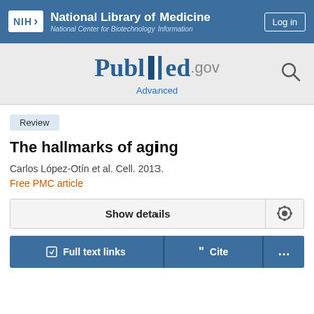NIH National Library of Medicine — National Center for Biotechnology Information
[Figure (logo): PubMed.gov logo with search bar and Advanced link]
Review
The hallmarks of aging
Carlos López-Otín et al. Cell. 2013.
Free PMC article
Show details
Full text links
Cite